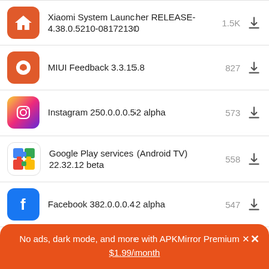Xiaomi System Launcher RELEASE-4.38.0.5210-08172130  1.5K
MIUI Feedback 3.3.15.8  827
Instagram 250.0.0.0.52 alpha  573
Google Play services (Android TV) 22.32.12 beta  558
Facebook 382.0.0.0.42 alpha  547
No ads, dark mode, and more with APKMirror Premium  ×
$1.99/month